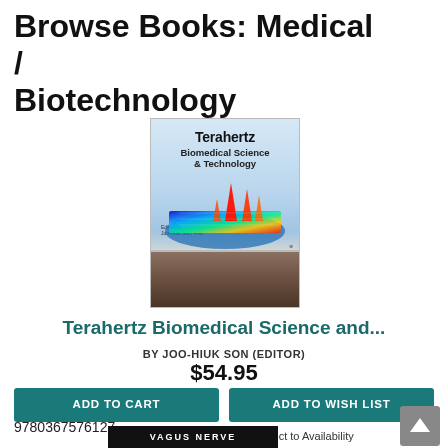Browse Books: Medical / Biotechnology
[Figure (photo): Book cover of Terahertz Biomedical Science & Technology edited by Joo-Hiuk Son, PhD. Cover shows a 3D terahertz spectroscopy heat map visualization above a tissue cross-section.]
Terahertz Biomedical Science and...
BY JOO-HIUK SON (EDITOR)
$54.95
ADD TO CART
ADD TO WISH LIST
9780367576127
Special Order—Subject to Availability
(This book cannot be returned.)
VAGUS NERVE